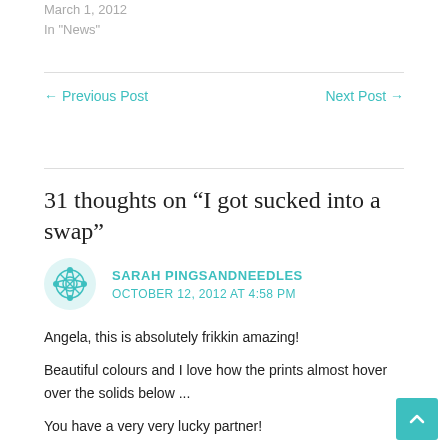March 1, 2012
In “News”
← Previous Post
Next Post →
31 thoughts on “I got sucked into a swap”
SARAH PINGSANDNEEDLES
OCTOBER 12, 2012 AT 4:58 PM
Angela, this is absolutely frikkin amazing!

Beautiful colours and I love how the prints almost hover over the solids below ...

You have a very very lucky partner!